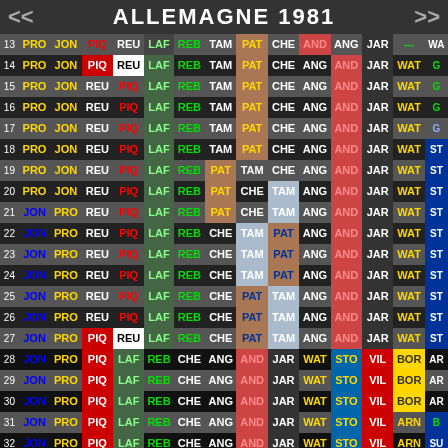ALLEMAGNE 1981
| # | C1 | C2 | C3 | C4 | C5 | C6 | C7 | C8 | C9 | C10 | C11 | C12 | C13 | C14 |
| --- | --- | --- | --- | --- | --- | --- | --- | --- | --- | --- | --- | --- | --- | --- |
| 13 | PRO | JON | PIQ | REU | LAF | REB | TAM | PAT | CHE | AND | ANG | JAR | --- | WA |
| 14 | PRO | JON | PIQ | REU | LAF | REB | TAM | PAT | CHE | ANG | AND | JAR | WAT | G |
| 15 | PRO | JON | REU | PIQ | LAF | REB | TAM | PAT | CHE | ANG | AND | JAR | WAT | G |
| 16 | PRO | JON | REU | PIQ | LAF | REB | TAM | PAT | CHE | ANG | AND | JAR | WAT | G |
| 17 | PRO | JON | REU | PIQ | LAF | REB | TAM | PAT | CHE | ANG | AND | JAR | WAT | G |
| 18 | PRO | JON | REU | PIQ | LAF | REB | TAM | PAT | CHE | ANG | AND | JAR | WAT | ST |
| 19 | PRO | JON | REU | PIQ | LAF | REB | PAT | TAM | CHE | ANG | AND | JAR | WAT | ST |
| 20 | PRO | JON | REU | PIQ | LAF | REB | PAT | CHE | TAM | ANG | AND | JAR | WAT | ST |
| 21 | JON | PRO | REU | PIQ | LAF | REB | PAT | CHE | TAM | ANG | AND | JAR | WAT | ST |
| 22 | JON | PRO | REU | PIQ | LAF | REB | CHE | TAM | PAT | ANG | AND | JAR | WAT | ST |
| 23 | JON | PRO | REU | PIQ | LAF | REB | CHE | TAM | PAT | ANG | AND | JAR | WAT | ST |
| 24 | JON | PRO | REU | PIQ | LAF | REB | CHE | TAM | PAT | ANG | AND | JAR | WAT | ST |
| 25 | JON | PRO | REU | PIQ | LAF | REB | CHE | PAT | TAM | ANG | AND | JAR | WAT | ST |
| 26 | JON | PRO | REU | PIQ | LAF | REB | CHE | PAT | TAM | ANG | AND | JAR | WAT | ST |
| 27 | JON | PRO | PIQ | REU | LAF | REB | CHE | PAT | TAM | ANG | AND | JAR | WAT | ST |
| 28 | JON | PRO | PIQ | LAF | REB | CHE | ANG | AND | JAR | WAT | STO | VIL | BOR | AR |
| 29 | JON | PRO | PIQ | LAF | REB | CHE | ANG | AND | JAR | WAT | STO | VIL | BOR | AR |
| 30 | JON | PRO | PIQ | LAF | REB | CHE | ANG | AND | JAR | WAT | STO | VIL | BOR | AR |
| 31 | JON | PRO | PIQ | LAF | REB | CHE | ANG | AND | JAR | WAT | STO | VIL | ARN | B |
| 32 | JON | PRO | PIQ | LAF | REB | CHE | ANG | AND | JAR | WAT | STO | VIL | ARN | SU |
| 33 | JON | PRO | PIQ | LAF | REB | CHE | ANG | AND | JAR | WAT | VIL | STO | ARN | SU |